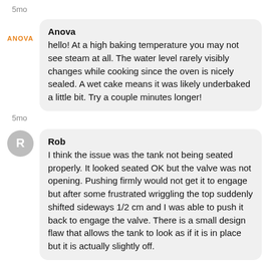5mo
Anova
hello! At a high baking temperature you may not see steam at all. The water level rarely visibly changes while cooking since the oven is nicely sealed. A wet cake means it was likely underbaked a little bit. Try a couple minutes longer!
5mo
Rob
I think the issue was the tank not being seated properly. It looked seated OK but the valve was not opening. Pushing firmly would not get it to engage but after some frustrated wriggling the top suddenly shifted sideways 1/2 cm and I was able to push it back to engage the valve. There is a small design flaw that allows the tank to look as if it is in place but it is actually slightly off.